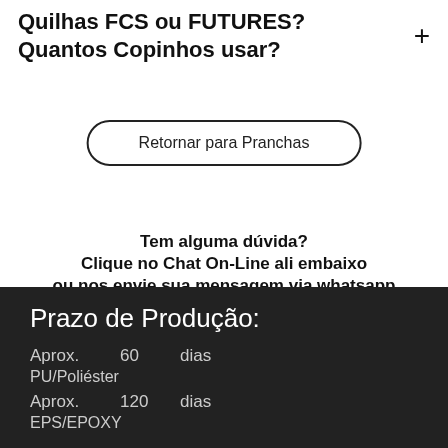Quilhas FCS ou FUTURES? Quantos Copinhos usar?
Retornar para Pranchas
Tem alguma dúvida?
Clique no Chat On-Line ali embaixo
ou nos envie sua mensagem via whatsapp
Clique aqui
Prazo de Produção:
Aprox.  60  dias
PU/Poliéster
Aprox.  120  dias
EPS/EPOXY